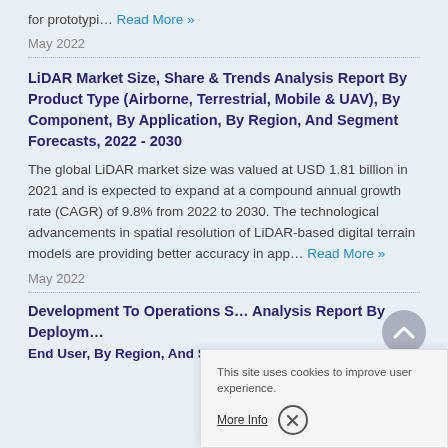for prototypi… Read More »
May 2022
LiDAR Market Size, Share & Trends Analysis Report By Product Type (Airborne, Terrestrial, Mobile & UAV), By Component, By Application, By Region, And Segment Forecasts, 2022 - 2030
The global LiDAR market size was valued at USD 1.81 billion in 2021 and is expected to expand at a compound annual growth rate (CAGR) of 9.8% from 2022 to 2030. The technological advancements in spatial resolution of LiDAR-based digital terrain models are providing better accuracy in app… Read More »
May 2022
Development To Operations S… Analysis Report By Deploym… End User, By Region, And Segment Forecasts, 2022 - 2030
This site uses cookies to improve user experience.
More Info